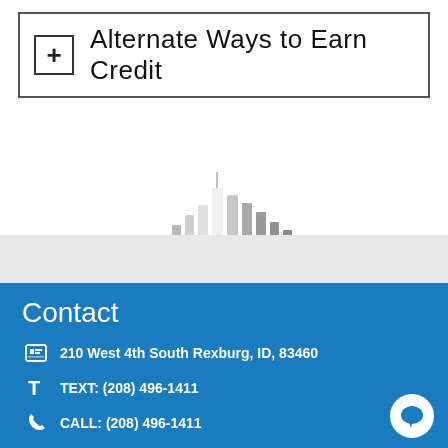Alternate Ways to Earn Credit
[Figure (illustration): Decorative background image showing a faded cityscape or bar-chart-like building silhouettes in grayscale]
Contact
210 West 4th South Rexburg, ID, 83460
TEXT: (208) 496-1411
CALL: (208) 496-1411